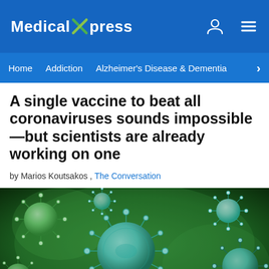Medical Xpress
Home   Addiction   Alzheimer's Disease & Dementia
A single vaccine to beat all coronaviruses sounds impossible—but scientists are already working on one
by Marios Koutsakos , The Conversation
[Figure (photo): 3D illustration of green coronavirus particles floating against a dark green background, showing spherical virus particles with spike proteins]